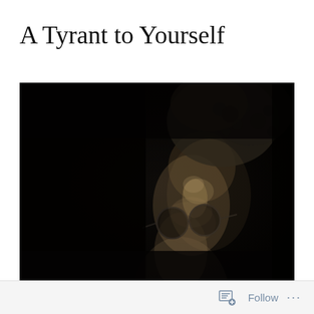A Tyrant to Yourself
[Figure (photo): Black and white close-up photograph of a person's face, mostly in shadow. The face is tilted downward with curly dark hair visible at the top, and round glasses visible in the lower portion. The background is almost entirely black, with the face emerging partially from darkness.]
Follow ...